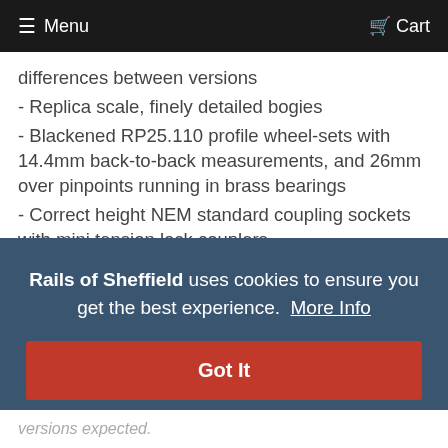≡ Menu   Cart
differences between versions
- Replica scale, finely detailed bogies
- Blackened RP25.110 profile wheel-sets with 14.4mm back-to-back measurements, and 26mm over pinpoints running in brass bearings
- Correct height NEM standard coupling sockets with mini tension lock couplers
- Minimum Radius 438mm (2nd Radius Set-track)
- Coach Length: 216mm
Rails of Sheffield uses cookies to ensure you get the best experience. More Info
Got It
versions expected.